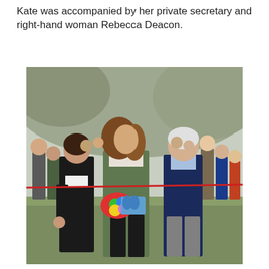Kate was accompanied by her private secretary and right-hand woman Rebecca Deacon.
[Figure (photo): Kate (Duchess of Cambridge) walking outdoors holding a colorful bouquet of flowers and a blue butterfly card, wearing a green blazer and polka-dot top, accompanied by Rebecca Deacon on her left and a man in a navy blazer on her right, with a crowd and rocky hillside in the background.]